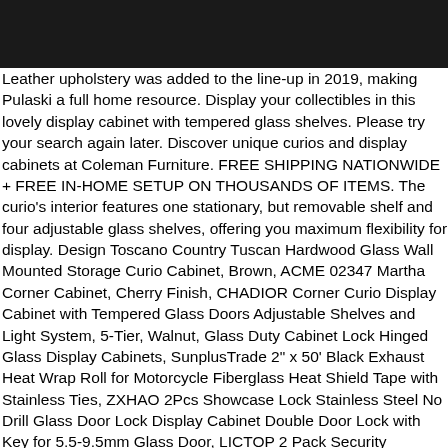[Figure (other): Black rectangular bar at top of page]
Leather upholstery was added to the line-up in 2019, making Pulaski a full home resource. Display your collectibles in this lovely display cabinet with tempered glass shelves. Please try your search again later. Discover unique curios and display cabinets at Coleman Furniture. FREE SHIPPING NATIONWIDE + FREE IN-HOME SETUP ON THOUSANDS OF ITEMS. The curio's interior features one stationary, but removable shelf and four adjustable glass shelves, offering you maximum flexibility for display. Design Toscano Country Tuscan Hardwood Glass Wall Mounted Storage Curio Cabinet, Brown, ACME 02347 Martha Corner Cabinet, Cherry Finish, CHADIOR Corner Curio Display Cabinet with Tempered Glass Doors Adjustable Shelves and Light System, 5-Tier, Walnut, Glass Duty Cabinet Lock Hinged Glass Display Cabinets, SunplusTrade 2" x 50' Black Exhaust Heat Wrap Roll for Motorcycle Fiberglass Heat Shield Tape with Stainless Ties, ZXHAO 2Pcs Showcase Lock Stainless Steel No Drill Glass Door Lock Display Cabinet Double Door Lock with Key for 5.5-9.5mm Glass Door, LICTOP 2 Pack Security Showcase Display Cabinet Glass Double Door Lock No Drill for 5-8mm Glass Door, Diamond Plate Single Duplex Wall Plate,